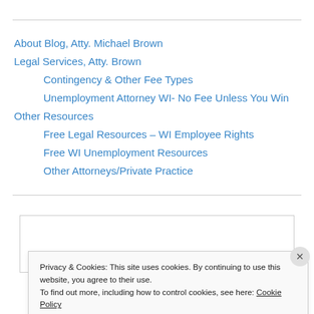About Blog, Atty. Michael Brown
Legal Services, Atty. Brown
Contingency & Other Fee Types
Unemployment Attorney WI- No Fee Unless You Win
Other Resources
Free Legal Resources – WI Employee Rights
Free WI Unemployment Resources
Other Attorneys/Private Practice
Search
Privacy & Cookies: This site uses cookies. By continuing to use this website, you agree to their use.
To find out more, including how to control cookies, see here: Cookie Policy
Close and accept